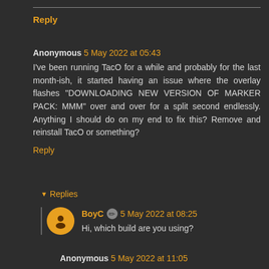Reply
Anonymous 5 May 2022 at 05:43
I've been running TacO for a while and probably for the last month-ish, it started having an issue where the overlay flashes "DOWNLOADING NEW VERSION OF MARKER PACK: MMM" over and over for a split second endlessly. Anything I should do on my end to fix this? Remove and reinstall TacO or something?
Reply
Replies
BoyC 5 May 2022 at 08:25
Hi, which build are you using?
Anonymous 5 May 2022 at 11:05